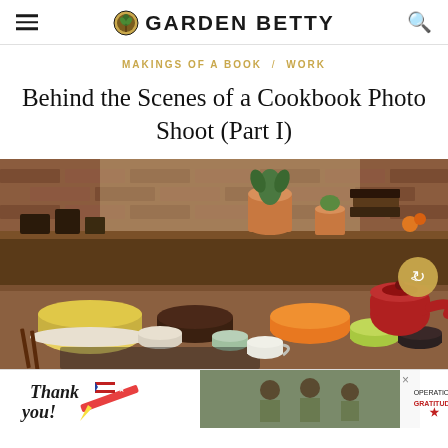GARDEN BETTY
MAKINGS OF A BOOK / WORK
Behind the Scenes of a Cookbook Photo Shoot (Part I)
[Figure (photo): Behind the scenes photo of a cookbook photo shoot showing a table with various colorful ceramic bowls, cups, and pottery arranged on a wooden table in a rustic kitchen setting with brick wall and potted plants in the background.]
[Figure (photo): Advertisement banner for Operation Gratitude showing a 'Thank You' graphic with American flag imagery and soldiers.]